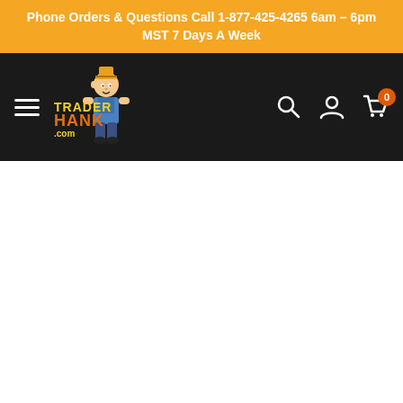Phone Orders & Questions Call 1-877-425-4265 6am – 6pm MST 7 Days A Week
[Figure (logo): Trader Hank logo with cartoon character and colorful text on dark navigation bar]